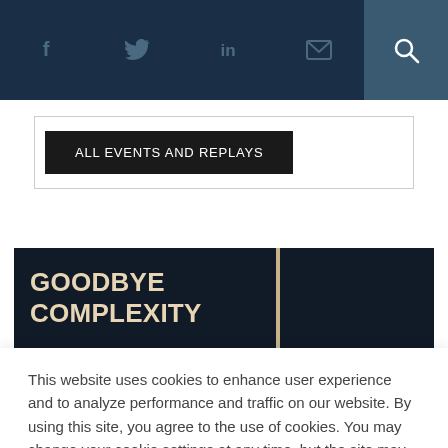Social media icons: Facebook, Twitter, LinkedIn, Email, Search
ALL EVENTS AND REPLAYS
[Figure (other): Dark banner with bold serif text reading GOODBYE COMPLEXITY in cream/tan color, split into two dark panels with a tan vertical divider]
This website uses cookies to enhance user experience and to analyze performance and traffic on our website. By using this site, you agree to the use of cookies. You may change your cookie settings at any time, but the site may not function properly. Cookie Policy
Close